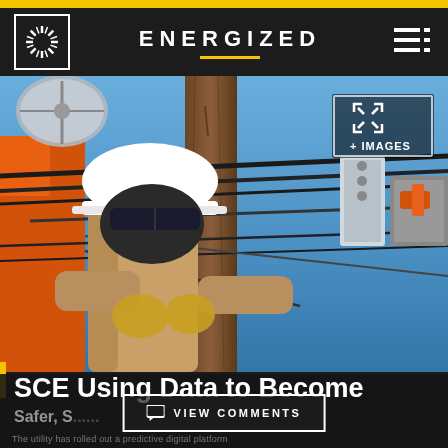ENERGIZED
[Figure (photo): Utility worker in hard hat and mask working on electrical cables on a utility pole against a blue sky background]
SCE Using Data to Become
Safer, S...
The utility has rolled out a predictive digital platform
VIEW COMMENTS